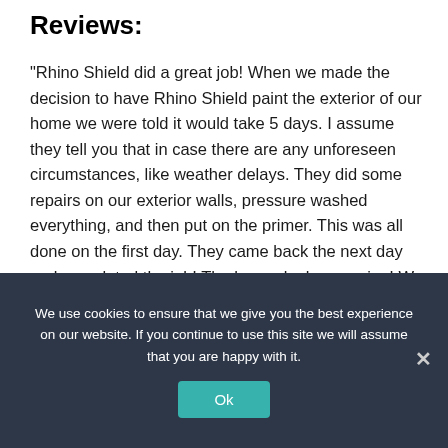Reviews:
"Rhino Shield did a great job! When we made the decision to have Rhino Shield paint the exterior of our home we were told it would take 5 days. I assume they tell you that in case there are any unforeseen circumstances, like weather delays. They did some repairs on our exterior walls, pressure washed everything, and then put on the primer. This was all done on the first day. They came back the next day and completed the job! The house looks amazing! We are very impressed! Looking forward to seeing the lasting results year after year."
"Amazing elastomeric paint which saves you from repainting
We use cookies to ensure that we give you the best experience on our website. If you continue to use this site we will assume that you are happy with it.